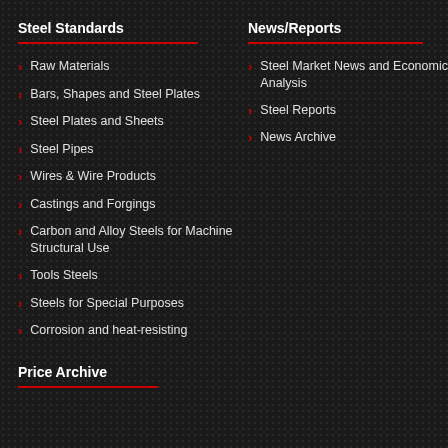Steel Standards
Raw Materials
Bars, Shapes and Steel Plates
Steel Plates and Sheets
Steel Pipes
Wires & Wire Products
Castings and Forgings
Carbon and Alloy Steels for Machine Structural Use
Tools Steels
Steels for Special Purposes
Corrosion and heat-resisting
News/Reports
Steel Market News and Economic Analysis
Steel Reports
News Archive
Price Archive